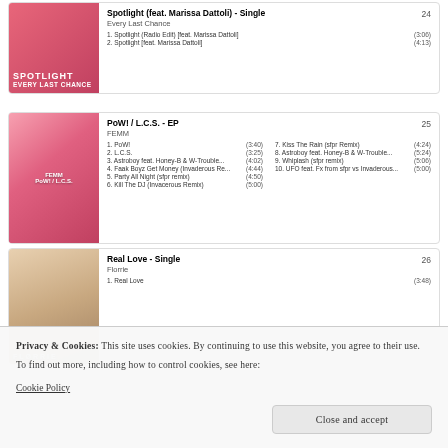[Figure (illustration): Album art for Spotlight (feat. Marissa Dattoli) - Single by Every Last Chance, pink/rose colored with silhouette figure, text SPOTLIGHT and EVERY LAST CHANCE]
Spotlight (feat. Marissa Dattoli) - Single
Every Last Chance
1. Spotlight (Radio Edit) [feat. Marissa Dattoli] (3:06)
2. Spotlight [feat. Marissa Dattoli] (4:13)
24
[Figure (illustration): Album art for PoW! / L.C.S. - EP by FEMM, pink background with three women]
PoW! / L.C.S. - EP
FEMM
1. PoW! (3:40)
2. L.C.S. (3:25)
3. Astroboy feat. Honey-B & W-Trouble... (4:02)
4. Faak Boyz Get Money (Invaderous Re... (4:44)
5. Party All Night (sfpr remix) (4:50)
6. Kill The DJ (Invacerous Remix) (5:00)
7. Kiss The Rain (sfpr Remix) (4:24)
8. Astroboy feat. Honey-B & W-Trouble... (5:24)
9. Whiplash (sfpr remix) (5:06)
10. UFO feat. Fx from sfpr vs Invaderous... (5:00)
25
[Figure (illustration): Album art for Real Love - Single by Florrie, warm toned photo of blonde woman, FLORRIE text overlay]
Real Love - Single
Florrie
1. Real Love (3:48)
26
Privacy & Cookies: This site uses cookies. By continuing to use this website, you agree to their use.
To find out more, including how to control cookies, see here:
Cookie Policy
Close and accept
[Figure (illustration): Partial album art at bottom of page, cropped]